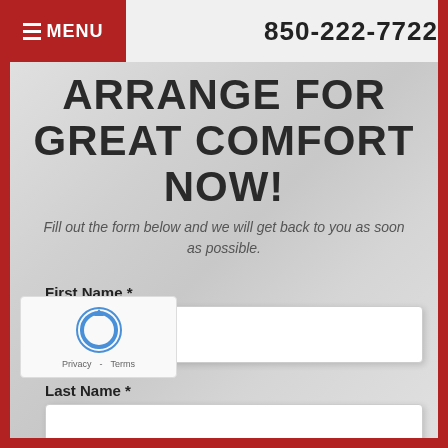MENU  850-222-7722
ARRANGE FOR GREAT COMFORT NOW!
Fill out the form below and we will get back to you as soon as possible.
First Name *
Last Name *
Phone Number *
Email Address *
[Figure (other): reCAPTCHA widget with Privacy and Terms links]